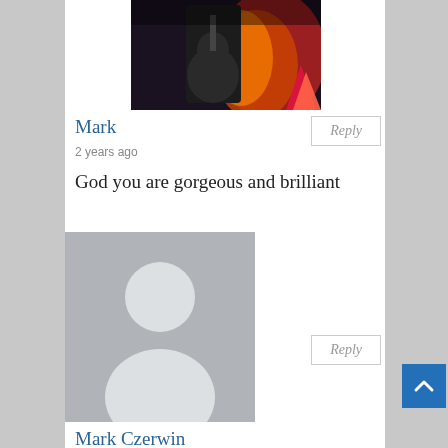[Figure (photo): Avatar image of user Mark, showing a dark fantasy-style image with fire and a guitar or similar object]
Mark
2 years ago
God you are gorgeous and brilliant
[Figure (photo): Default grey avatar placeholder with white silhouette of a person]
Mark Czerwin
2 years ago
Thank you for all your work. That letter was soul warming. I wish you all the best in…